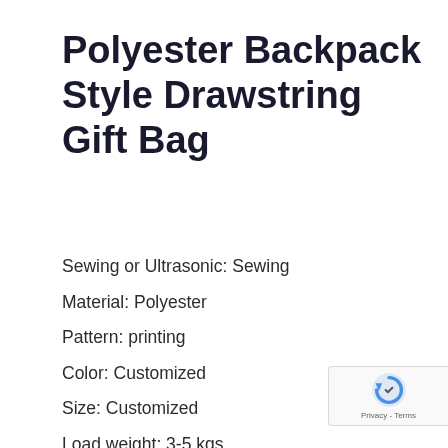Polyester Backpack Style Drawstring Gift Bag
Sewing or Ultrasonic: Sewing
Material: Polyester
Pattern: printing
Color: Customized
Size: Customized
Load weight: 3-5 kgs
Feature: Eco-Friendly, Waterproof, Reusable, Durable
Usage: Shopping, Packing, Supermarket,
[Figure (logo): Google reCAPTCHA badge with spinning arrow logo and Privacy - Terms text]